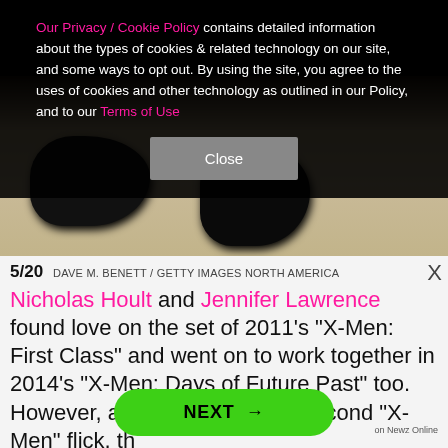Our Privacy / Cookie Policy contains detailed information about the types of cookies & related technology on our site, and some ways to opt out. By using the site, you agree to the uses of cookies and other technology as outlined in our Policy, and to our Terms of Use
[Figure (photo): Photo of black dress shoes on a light tile floor, partially visible at bottom of image.]
5/20   DAVE M. BENETT / GETTY IMAGES NORTH AMERICA
Nicholas Hoult and Jennifer Lawrence found love on the set of 2011's "X-Men: First Class" and went on to work together in 2014's "X-Men: Days of Future Past" too. However, after wrapping their second "X-Men" flick, th